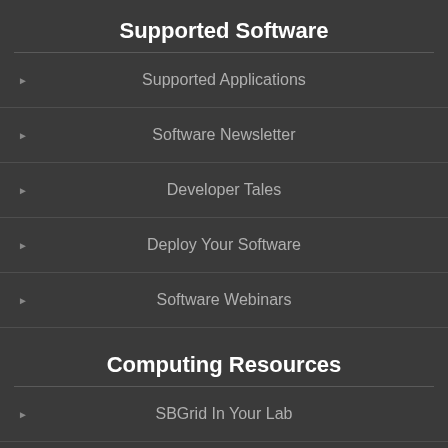Supported Software
Supported Applications
Software Newsletter
Developer Tales
Deploy Your Software
Software Webinars
Computing Resources
SBGrid In Your Lab
Molecular Replacement Portal
Low Resolution Refinement
SBGrid Data Bank